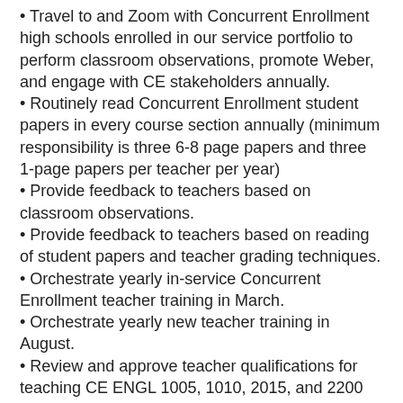Travel to and Zoom with Concurrent Enrollment high schools enrolled in our service portfolio to perform classroom observations, promote Weber, and engage with CE stakeholders annually.
Routinely read Concurrent Enrollment student papers in every course section annually (minimum responsibility is three 6-8 page papers and three 1-page papers per teacher per year)
Provide feedback to teachers based on classroom observations.
Provide feedback to teachers based on reading of student papers and teacher grading techniques.
Orchestrate yearly in-service Concurrent Enrollment teacher training in March.
Orchestrate yearly new teacher training in August.
Review and approve teacher qualifications for teaching CE ENGL 1005, 1010, 2015, and 2200 (and any additional courses).
Curate resources for CE teachers, which may include reading selections, assignments, pedagogies, and online materials for CE ENGL 1005, 1010, 2015, and 2200 (and